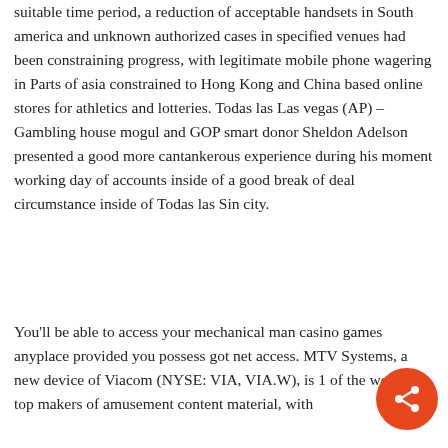suitable time period, a reduction of acceptable handsets in South america and unknown authorized cases in specified venues had been constraining progress, with legitimate mobile phone wagering in Parts of asia constrained to Hong Kong and China based online stores for athletics and lotteries. Todas las Las vegas (AP) – Gambling house mogul and GOP smart donor Sheldon Adelson presented a good more cantankerous experience during his moment working day of accounts inside of a good break of deal circumstance inside of Todas las Sin city.
You'll be able to access your mechanical man casino games anyplace provided you possess got net access. MTV Systems, a new device of Viacom (NYSE: VIA, VIA.W), is 1 of the world's top makers of amusement content material, with